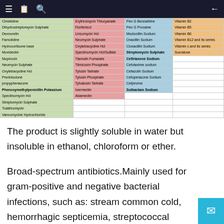Navigation bar
| Column1 | Column2 | Column3 | Column4 |
| --- | --- | --- | --- |
| Cimetidine | Erythromycin Thiocyanate | Pen G Benzathine | Vitamin B2 |
| Dihydrostreptomycin Sulphate | Florfenicol | Pen G Procaine | Vitamin B5 |
| Dexnorelin | Lincomycin Hcl | Mezlocillin Sodium | Vitamin B6 |
| Famotidine | Neomycin Sulphate | Oxacillin Sodium | Vitamin B12 and its series |
| Hydrocortisone base | Oxytetracycline Hcl | Cloxacillin Sodium | Vitamin c and its series |
| Moxidectin | Spectinomycin Hcl/Sulfate | Streptomycin Sulphate | Sucralose |
| Mupirocin | Tiamulin Fumarate | Ceftriaxone Sodium |  |
| Neomycin Sulphate | Tilmicosin Phosphate | Cefotaxime sodium |  |
| Oxytetracycline Hcl | Tylosin Tartrate | Cefazolin Sodium |  |
| Prednisolone | Tylosin Phosphate | Cefoperazone Sodium |  |
| propyphenazone | Tylvalosin Tartrate | Cefpirome |  |
| Phenoxymethylpenicillin Potassium | Ivermectin | Sulbactam Sodium |  |
| Spectinomycin Hcl | Abamectin |  |  |
| Streptomycin Sulphate |  |  |  |
| Tulathromycin |  |  |  |
| Vancomycine Hydrochloride |  |  |  |
The product is slightly soluble in water but insoluble in ethanol, chloroform or ether.
Broad-spectrum antibiotics.Mainly used for gram-positive and negative bacterial infections, such as: stream common cold, hemorrhagic septicemia, streptococcal disease, erysipelas piggii, anthrax,